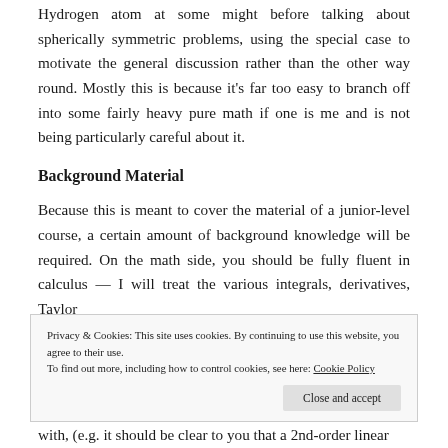Hydrogen atom at some might before talking about spherically symmetric problems, using the special case to motivate the general discussion rather than the other way round. Mostly this is because it's far too easy to branch off into some fairly heavy pure math if one is me and is not being particularly careful about it.
Background Material
Because this is meant to cover the material of a junior-level course, a certain amount of background knowledge will be required. On the math side, you should be fully fluent in calculus — I will treat the various integrals, derivatives, Taylor
Privacy & Cookies: This site uses cookies. By continuing to use this website, you agree to their use.
To find out more, including how to control cookies, see here: Cookie Policy
with, (e.g. it should be clear to you that a 2nd-order linear